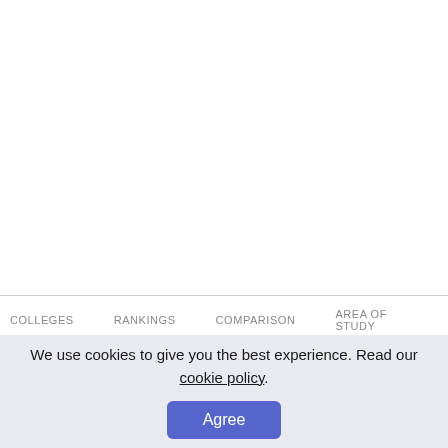COLLEGES   RANKINGS   COMPARISON   AREA OF STUDY
We use cookies to give you the best experience. Read our cookie policy.